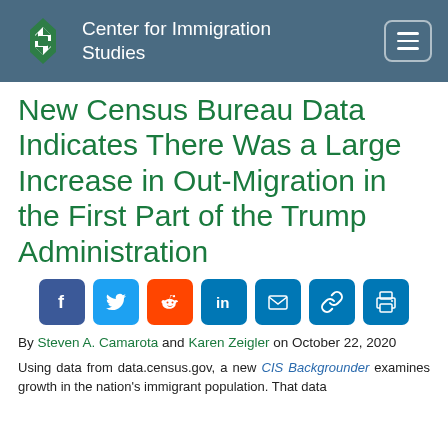Center for Immigration Studies
New Census Bureau Data Indicates There Was a Large Increase in Out-Migration in the First Part of the Trump Administration
[Figure (infographic): Social sharing buttons: Facebook, Twitter, Reddit, LinkedIn, Email, Link, Print]
By Steven A. Camarota and Karen Zeigler on October 22, 2020
Using data from data.census.gov, a new CIS Backgrounder examines growth in the nation's immigrant population. That data